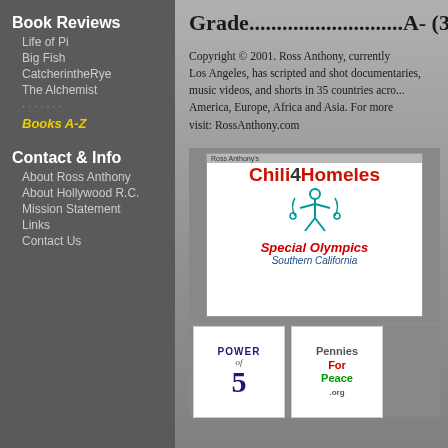Book Reviews
Life of Pi
Big Fish
CatcherintheRye
The Alchemist
Books A-Z
Contact & Info
About Ross Anthony
About Hollywood R.C.
Mission Statement
Links
Contact Us
Grade............................A- (3
Copyright © 2001. Ross Anthony, currently Los Angeles, has scripted and shot documentaries, music videos, and shorts in 35 countries across America, Europe, Africa and Asia. For more visit: RossAnthony.com
[Figure (logo): Ross Anthony's Chili4Homeless banner with Special Olympics Southern California logo]
[Figure (logo): Power of 5 logo and Pennies For Peace .org logo]